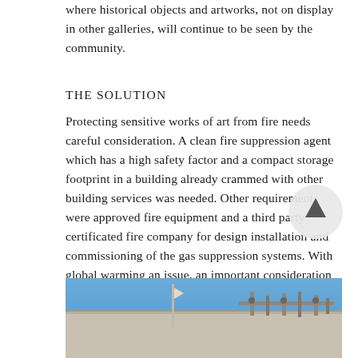where historical objects and artworks, not on display in other galleries, will continue to be seen by the community.
THE SOLUTION
Protecting sensitive works of art from fire needs careful consideration. A clean fire suppression agent which has a high safety factor and a compact storage footprint in a building already crammed with other building services was needed. Other requirements were approved fire equipment and a third party certificated fire company for design installation and commissioning of the gas suppression systems. With global warming an issue, an important consideration in the decision process was the environment. Sapphire Suppression Systems were proposed for the Centre.
[Figure (photo): Photograph of building exterior showing blue sky and classical stone cornice with pipes/equipment visible on roofline]